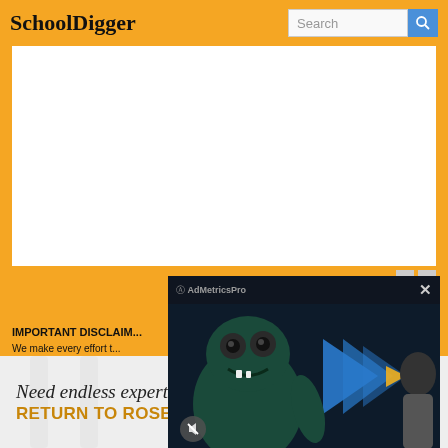SchoolDigger
[Figure (screenshot): White advertisement placeholder box]
[Figure (screenshot): AdMetricsPro video ad overlay showing a cartoon monster character with blue geometric shapes and a close (X) button]
IMPORTANT DISCLAIM...
We make every effort t... boundary data are up-t...
[Figure (advertisement): Rosen Hotels & Resorts ad: 'Need endless expertise? RETURN TO ROSEN.' with logo and script tagline 'Return to Rosen']